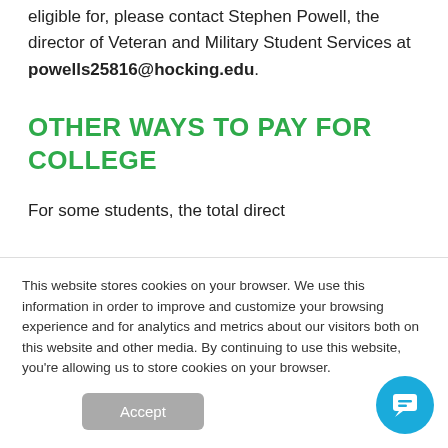eligible for, please contact Stephen Powell, the director of Veteran and Military Student Services at powells25816@hocking.edu.
OTHER WAYS TO PAY FOR COLLEGE
For some students, the total direct
This website stores cookies on your browser. We use this information in order to improve and customize your browsing experience and for analytics and metrics about our visitors both on this website and other media. By continuing to use this website, you're allowing us to store cookies on your browser.
Accept